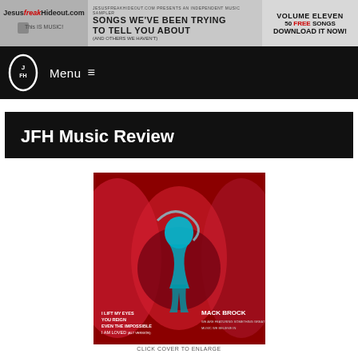[Figure (other): JesusFreakHideout.com banner ad - Volume Eleven, Songs We've Been Trying To Tell You About (And Others We Haven't), 50 Free Songs Download It Now!]
Menu ≡
JFH Music Review
[Figure (photo): Album cover for Mack Brock - red dramatic background with teal figure silhouette. Text: I Lift My Eyes, You Reign, Even The Impossible, I Am Loved (Alt Version), Mack Brock]
CLICK COVER TO ENLARGE